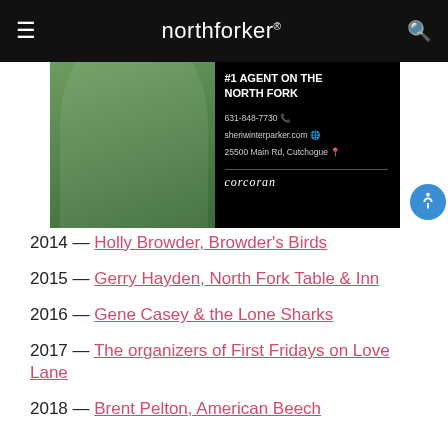northforker
[Figure (photo): Advertisement for Sheri Winter Parker, Corcoran real estate agent. Shows a woman on a boat on the left side with a dark overlay on the right side reading: 'Unmatched #1 AGENT ON THE NORTH FORK. 631-848-7730, sheriwinterparker.com, 25500 Main Rd, Cutchogue. corcoran']
2014 — Holly Browder, Browder's Birds
2015 — Gerry Hayden, North Fork Table & Inn
2016 — Gene Casey & the Lone Sharks
2017 — The organizers of First Fridays on Love Lane
2018 — Brent Pelton, American Beech